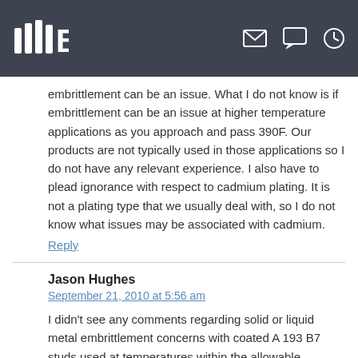[Navigation bar with logo and icons]
embrittlement can be an issue. What I do not know is if embrittlement can be an issue at higher temperature applications as you approach and pass 390F. Our products are not typically used in those applications so I do not have any relevant experience. I also have to plead ignorance with respect to cadmium plating. It is not a plating type that we usually deal with, so I do not know what issues may be associated with cadmium.
Reply
Jason Hughes
September 21, 2010 at 5:56 am
I didn't see any comments regarding solid or liquid metal embrittlement concerns with coated A 193 B7 studs used at temperatures within the allowable